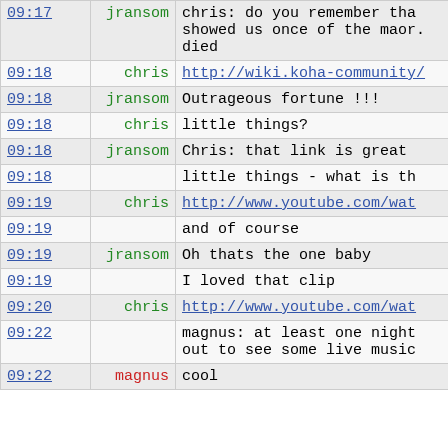| time | nick | message |
| --- | --- | --- |
| 09:17 | jransom | chris: do you remember tha showed us once of the maor. died |
| 09:18 | chris | http://wiki.koha-community/ |
| 09:18 | jransom | Outrageous fortune !!! |
| 09:18 | chris | little things? |
| 09:18 | jransom | Chris: that link is great |
| 09:18 |  | little things - what is th |
| 09:19 | chris | http://www.youtube.com/wat |
| 09:19 |  | and of course |
| 09:19 | jransom | Oh thats the one baby |
| 09:19 |  | I loved that clip |
| 09:20 | chris | http://www.youtube.com/wat |
| 09:22 |  | magnus: at least one night out to see some live music |
| 09:22 | magnus | cool |